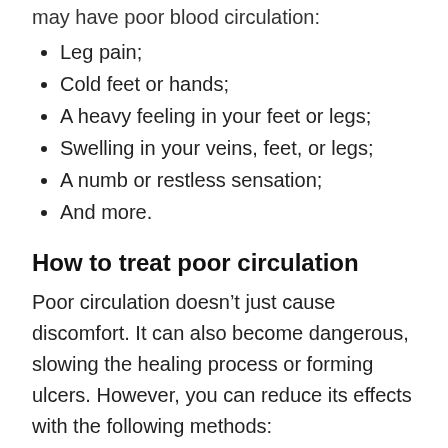may have poor blood circulation:
Leg pain;
Cold feet or hands;
A heavy feeling in your feet or legs;
Swelling in your veins, feet, or legs;
A numb or restless sensation;
And more.
How to treat poor circulation
Poor circulation doesn’t just cause discomfort. It can also become dangerous, slowing the healing process or forming ulcers. However, you can reduce its effects with the following methods:
Wearing compression socks;
Exercising routinely;
Keeping a healthy body weight;
Not smoking;
Elevating your feet; and